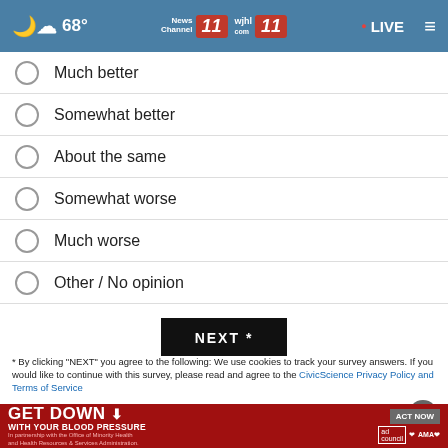68° News Channel 11 wjhl.com 11 • LIVE
Much better
Somewhat better
About the same
Somewhat worse
Much worse
Other / No opinion
NEXT *
* By clicking "NEXT" you agree to the following: We use cookies to track your survey answers. If you would like to continue with this survey, please read and agree to the CivicScience Privacy Policy and Terms of Service
[Figure (screenshot): GET DOWN WITH YOUR BLOOD PRESSURE advertisement banner with ACT NOW button, ad council, American Heart Association, and AMA logos]
TOP S